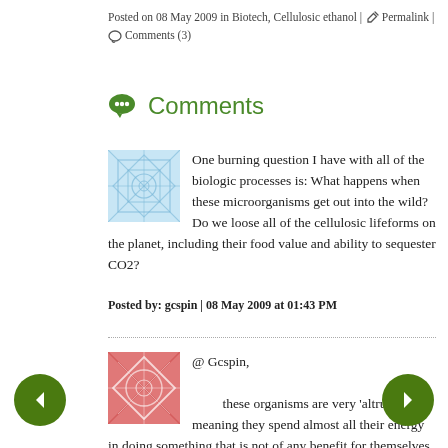Posted on 08 May 2009 in Biotech, Cellulosic ethanol | 🔗 Permalink | 💬 Comments (3)
💬 Comments
One burning question I have with all of the biologic processes is: What happens when these microorganisms get out into the wild? Do we loose all of the cellulosic lifeforms on the planet, including their food value and ability to sequester CO2?
Posted by: gcspin | 08 May 2009 at 01:43 PM
@ Gcspin,

these organisms are very 'altruistic', meaning they spend almost all their energy in doing something that is not of any benefit for themselves. So actually they are very weak organisms in the wild, and will not be able to